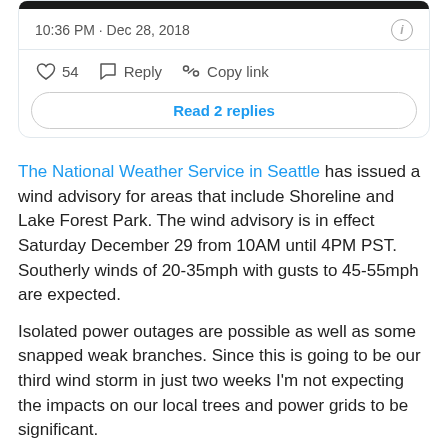[Figure (screenshot): Tweet card top bar (dark image strip)]
10:36 PM · Dec 28, 2018
54   Reply   Copy link
Read 2 replies
The National Weather Service in Seattle has issued a wind advisory for areas that include Shoreline and Lake Forest Park. The wind advisory is in effect Saturday December 29 from 10AM until 4PM PST. Southerly winds of 20-35mph with gusts to 45-55mph are expected.
Isolated power outages are possible as well as some snapped weak branches. Since this is going to be our third wind storm in just two weeks I'm not expecting the impacts on our local trees and power grids to be significant.
[Figure (photo): Weather Watcher image banner with stormy sky background]